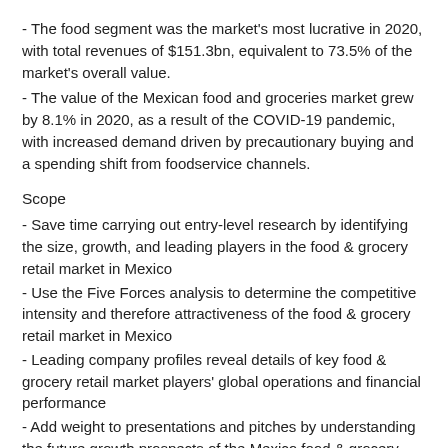- The food segment was the market's most lucrative in 2020, with total revenues of $151.3bn, equivalent to 73.5% of the market's overall value.
- The value of the Mexican food and groceries market grew by 8.1% in 2020, as a result of the COVID-19 pandemic, with increased demand driven by precautionary buying and a spending shift from foodservice channels.
Scope
- Save time carrying out entry-level research by identifying the size, growth, and leading players in the food & grocery retail market in Mexico
- Use the Five Forces analysis to determine the competitive intensity and therefore attractiveness of the food & grocery retail market in Mexico
- Leading company profiles reveal details of key food & grocery retail market players' global operations and financial performance
- Add weight to presentations and pitches by understanding the future growth prospects of the Mexico food & grocery retail market with five year forecasts
Reasons to Buy
- What was the size of the Mexico food & grocery retail market by value